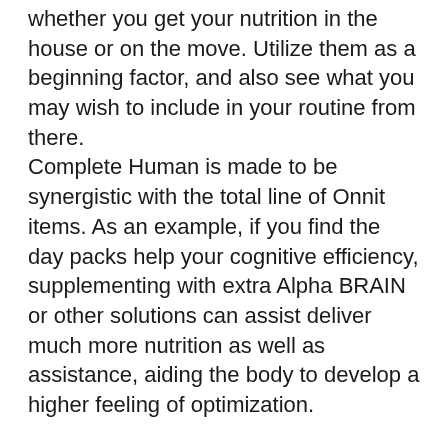whether you get your nutrition in the house or on the move. Utilize them as a beginning factor, and also see what you may wish to include in your routine from there.
Complete Human is made to be synergistic with the total line of Onnit items. As an example, if you find the day packs help your cognitive efficiency, supplementing with extra Alpha BRAIN or other solutions can assist deliver much more nutrition as well as assistance, aiding the body to develop a higher feeling of optimization.
There are a thousand different minerals and vitamin supplements out there. Getting every one of them would certainly set you back a fortune, as well as most aren't also helpful. So which ones do you really require, and how much suffices?
The response is Total Human, a collection of just